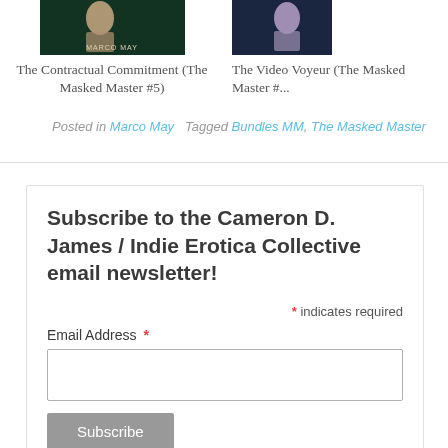[Figure (photo): Book cover thumbnail for The Contractual Commitment (The Masked Master #5) by Marco May — dark green/teal toned with person visible and MARCO MAY text]
The Contractual Commitment (The Masked Master #5)
[Figure (photo): Partially visible book cover thumbnail for The Video Voyeur (The Masked Master #...) — dark toned with person visible]
The Video Voyeur (The Masked Master #...)
Posted in Marco May   Tagged Bundles MM, The Masked Master
Subscribe to the Cameron D. James / Indie Erotica Collective email newsletter!
* indicates required
Email Address *